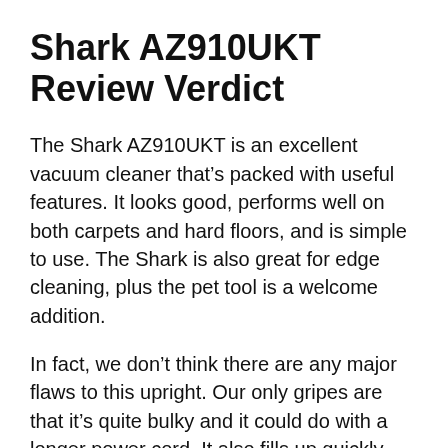Shark AZ910UKT Review Verdict
The Shark AZ910UKT is an excellent vacuum cleaner that’s packed with useful features. It looks good, performs well on both carpets and hard floors, and is simple to use. The Shark is also great for edge cleaning, plus the pet tool is a welcome addition.
In fact, we don’t think there are any major flaws to this upright. Our only gripes are that it’s quite bulky and it could do with a longer power cord. It also fills up quickly, due to the strong suction and small capacity.
We are the time that your a find the